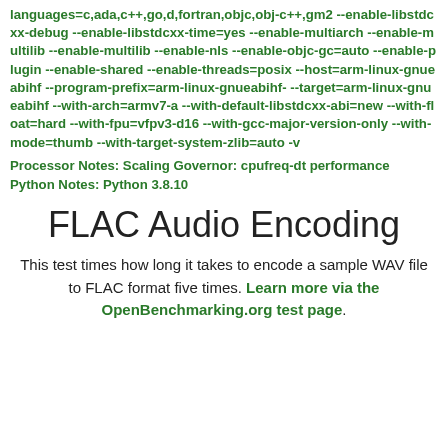languages=c,ada,c++,go,d,fortran,objc,obj-c++,gm2 --enable-libstdcxx-debug --enable-libstdcxx-time=yes --enable-multiarch --enable-multilib --enable-multilib --enable-nls --enable-objc-gc=auto --enable-plugin --enable-shared --enable-threads=posix --host=arm-linux-gnueabihf --program-prefix=arm-linux-gnueabihf- --target=arm-linux-gnueabihf --with-arch=armv7-a --with-default-libstdcxx-abi=new --with-float=hard --with-fpu=vfpv3-d16 --with-gcc-major-version-only --with-mode=thumb --with-target-system-zlib=auto -v
Processor Notes: Scaling Governor: cpufreq-dt performance
Python Notes: Python 3.8.10
FLAC Audio Encoding
This test times how long it takes to encode a sample WAV file to FLAC format five times. Learn more via the OpenBenchmarking.org test page.